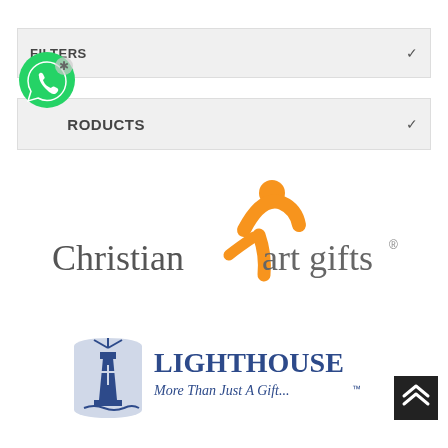FILTERS
PRODUCTS
[Figure (logo): Christian Art Gifts logo with orange figure and text]
[Figure (logo): Lighthouse More Than Just A Gift logo with lighthouse icon]
[Figure (logo): WhatsApp green phone icon overlay]